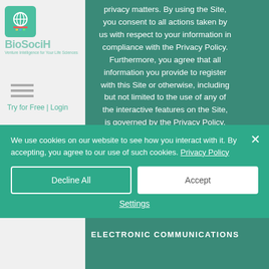privacy matters. By using the Site, you consent to all actions taken by us with respect to your information in compliance with the Privacy Policy. Furthermore, you agree that all information you provide to register with this Site or otherwise, including but not limited to the use of any of the interactive features on the Site, is governed by the Privacy Policy.
ELECTRONIC COMMUNICATIONS
We use cookies on our website to see how you interact with it. By accepting, you agree to our use of such cookies. Privacy Policy
Decline All
Accept
Settings